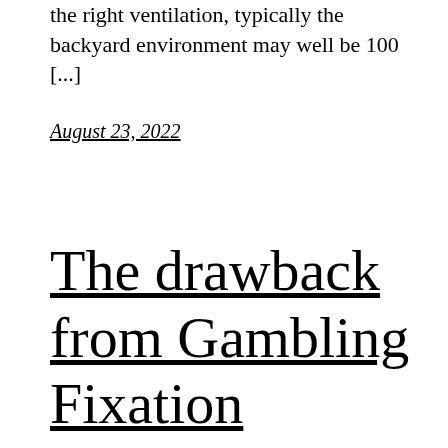the right ventilation, typically the backyard environment may well be 100 [...]
August 23, 2022
The drawback from Gambling Fixation